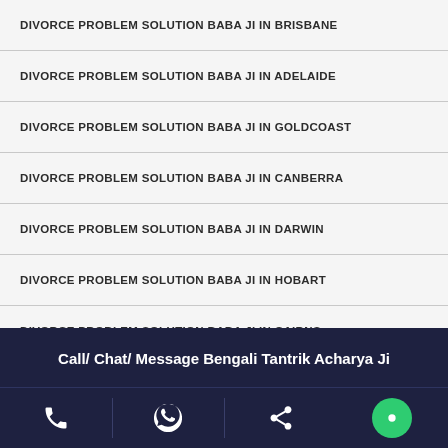DIVORCE PROBLEM SOLUTION BABA JI IN BRISBANE
DIVORCE PROBLEM SOLUTION BABA JI IN ADELAIDE
DIVORCE PROBLEM SOLUTION BABA JI IN GOLDCOAST
DIVORCE PROBLEM SOLUTION BABA JI IN CANBERRA
DIVORCE PROBLEM SOLUTION BABA JI IN DARWIN
DIVORCE PROBLEM SOLUTION BABA JI IN HOBART
DIVORCE PROBLEM SOLUTION BABA JI IN CAIRNS
DIVORCE PROBLEM SOLUTION BABA JI IN TAMPINES
DIVORCE PROBLEM SOLUTION BABA JI IN SERANGOON
Call/ Chat/ Message Bengali Tantrik Acharya Ji